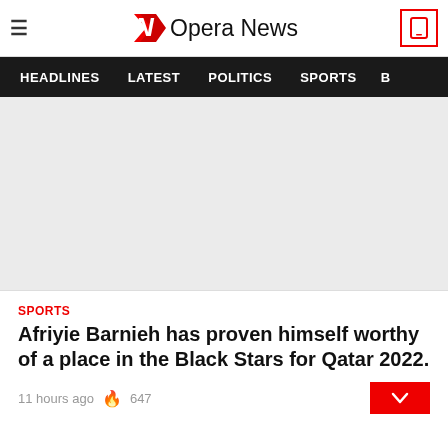Opera News
HEADLINES  LATEST  POLITICS  SPORTS
[Figure (photo): Article image placeholder, light grey rectangle]
SPORTS
Afriyie Barnieh has proven himself worthy of a place in the Black Stars for Qatar 2022.
11 hours ago  647